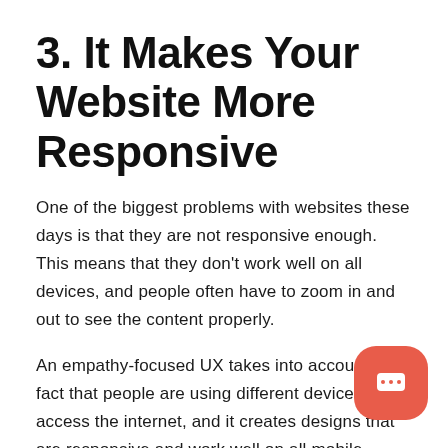3. It Makes Your Website More Responsive
One of the biggest problems with websites these days is that they are not responsive enough. This means that they don't work well on all devices, and people often have to zoom in and out to see the content properly.
An empathy-focused UX takes into account the fact that people are using different devices to access the internet, and it creates designs that are responsive and work well on all mobile devices. This is essential for any business, as can't afford to lose customers because your website doesn't work well on their device.